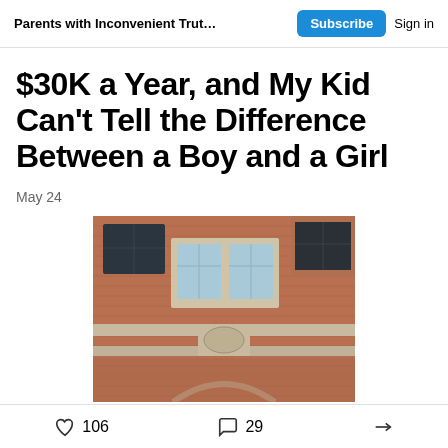Parents with Inconvenient Truths about T...  Subscribe  Sign in
$30K a Year, and My Kid Can't Tell the Difference Between a Boy and a Girl
May 24
[Figure (photo): Exterior facade of a brick school or university building with arched entrance, decorative stonework, and multi-pane windows]
106  29